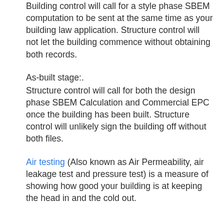Building control will call for a style phase SBEM computation to be sent at the same time as your building law application. Structure control will not let the building commence without obtaining both records.
As-built stage:.
Structure control will call for both the design phase SBEM Calculation and Commercial EPC once the building has been built. Structure control will unlikely sign the building off without both files.
Air testing (Also known as Air Permeability, air leakage test and pressure test) is a measure of showing how good your building is at keeping the head in and the cold out.